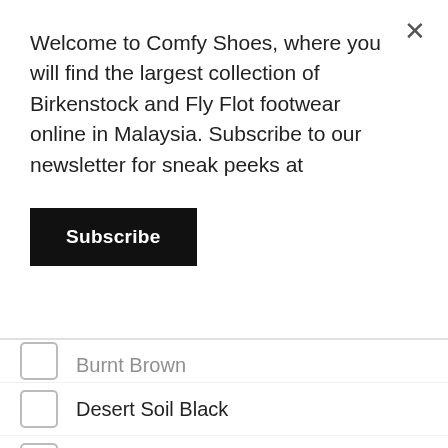Welcome to Comfy Shoes, where you will find the largest collection of Birkenstock and Fly Flot footwear online in Malaysia. Subscribe to our newsletter for sneak peeks at
Subscribe
Burnt Brown (partial, clipped)
Desert Soil Black
Desert Soil Camouflage Green
Desert Soil Espresso
Desert Soil Green
Desert Soil Taupe
Dress Blue
Flame
Flower Basket Rose
Golden Brown
Golden Toffee (partial, clipped)